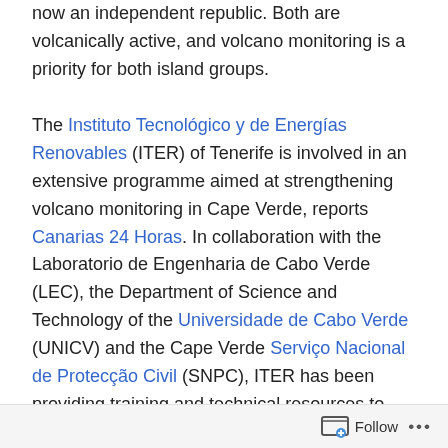now an independent republic. Both are volcanically active, and volcano monitoring is a priority for both island groups.
The Instituto Tecnológico y de Energías Renovables (ITER) of Tenerife is involved in an extensive programme aimed at strengthening volcano monitoring in Cape Verde, reports Canarias 24 Horas. In collaboration with the Laboratorio de Engenharia de Cabo Verde (LEC), the Department of Science and Technology of the Universidade de Cabo Verde (UNICV) and the Cape Verde Serviço Nacional de Protecção Civil (SNPC), ITER has been providing training and technical resources to enhance volcano monitoring and hazard mitigation in Cape Verde. Particular programmes under way include the strengthening of local capacities for geochemical volcano monitoring, the measurement of volcanic gas emissions
Follow